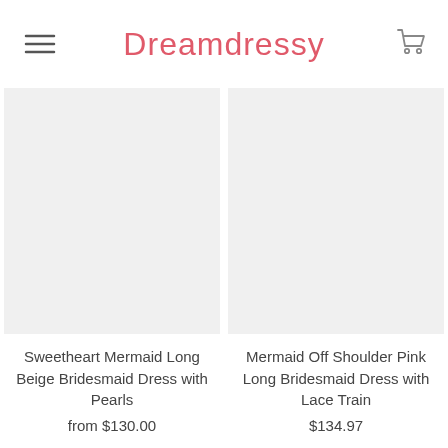Dreamdressy
[Figure (other): Product image placeholder for Sweetheart Mermaid Long Beige Bridesmaid Dress with Pearls]
Sweetheart Mermaid Long Beige Bridesmaid Dress with Pearls
from $130.00
[Figure (other): Product image placeholder for Mermaid Off Shoulder Pink Long Bridesmaid Dress with Lace Train]
Mermaid Off Shoulder Pink Long Bridesmaid Dress with Lace Train
$134.97